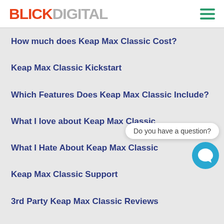BLICKDIGITAL
How much does Keap Max Classic Cost?
Keap Max Classic Kickstart
Which Features Does Keap Max Classic Include?
What I love about Keap Max Classic
What I Hate About Keap Max Classic
Keap Max Classic Support
3rd Party Keap Max Classic Reviews
How does Keap Max Classic stack up against its competitors?